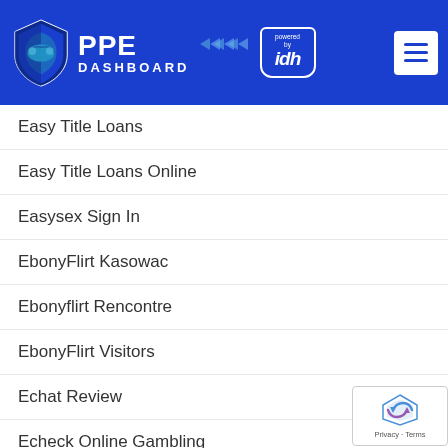[Figure (logo): PPE Dashboard logo powered by IDH with blue header, shield icon, hamburger menu button]
Easy Title Loans
Easy Title Loans Online
Easysex Sign In
EbonyFlirt Kasowac
Ebonyflirt Rencontre
EbonyFlirt Visitors
Echat Review
Echeck Online Gambling
Feenayz Best Online Gambling